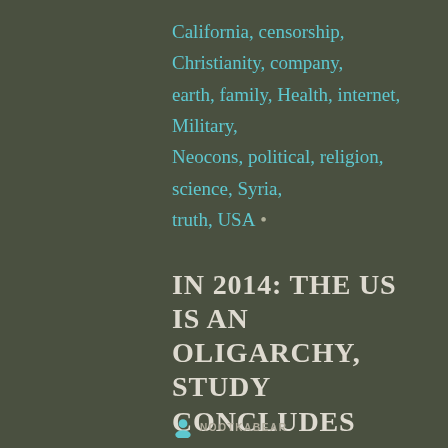California, censorship, Christianity, company, earth, family, Health, internet, Military, Neocons, political, religion, science, Syria, truth, USA •
IN 2014: THE US IS AN OLIGARCHY, STUDY CONCLUDES
NOOTKABEAR
NO COMMENTS
OCTOBER 30, 2019